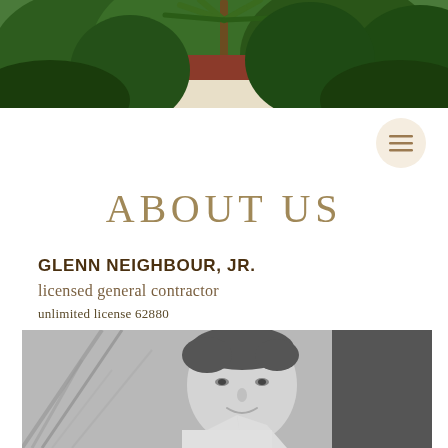[Figure (photo): Aerial/exterior view of a house partially obscured by palm trees and tropical vegetation, viewed from above]
[Figure (illustration): Circular menu button with three horizontal lines (hamburger icon) on a light peach/tan background]
ABOUT US
GLENN NEIGHBOUR, JR.
licensed general contractor
unlimited license 62880
[Figure (photo): Black and white portrait photograph of a smiling man with short dark hair, wearing a white shirt, with soft-focus foliage in the foreground]